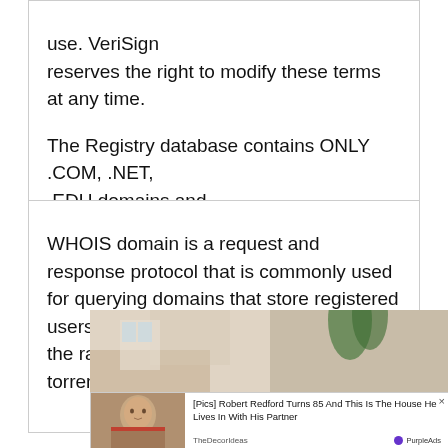use. VeriSign reserves the right to modify these terms at any time.

The Registry database contains ONLY .COM, .NET, .EDU domains and Registrars.
WHOIS domain is a request and response protocol that is commonly used for querying domains that store registered users or assigned domain names. This is the raw response from whois server for torrentkim5.net
[Figure (photo): A photo strip showing two people in what appears to be an indoor setting with a palm plant visible. Overlaid is an advertisement popup: '[Pics] Robert Redford Turns 85 And This Is The House He Lives In With His Partner' from TheDecorIdeas, with PurpleAds badge and a close (×) button. A smaller inset photo of an older man with reddish hair appears on the left side of the ad.]